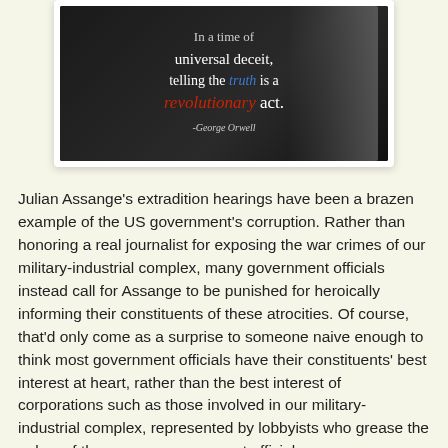[Figure (illustration): A dark-background motivational quote image showing text 'In a time of universal deceit, telling the truth is a revolutionary act. -George Orwell' with 'truth' in blue and 'revolutionary' in red, overlaid on a man's face silhouette with an American flag across the mouth.]
Julian Assange's extradition hearings have been a brazen example of the US government's corruption. Rather than honoring a real journalist for exposing the war crimes of our military-industrial complex, many government officials instead call for Assange to be punished for heroically informing their constituents of these atrocities. Of course, that'd only come as a surprise to someone naive enough to think most government officials have their constituents' best interest at heart, rather than the best interest of corporations such as those involved in our military-industrial complex, represented by lobbyists who grease the palms of those same government officials.